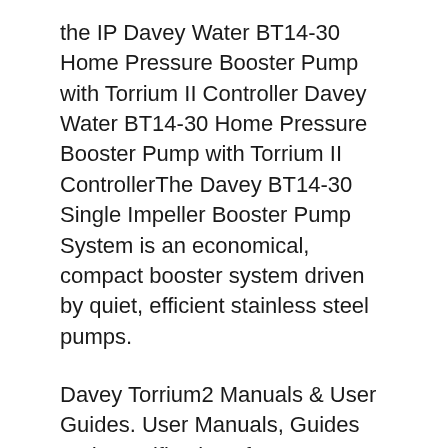the IP Davey Water BT14-30 Home Pressure Booster Pump with Torrium II Controller Davey Water BT14-30 Home Pressure Booster Pump with Torrium II ControllerThe Davey BT14-30 Single Impeller Booster Pump System is an economical, compact booster system driven by quiet, efficient stainless steel pumps.
Davey Torrium2 Manuals & User Guides. User Manuals, Guides and Specifications for your Davey Torrium2 Controller. Database contains 1 Davey Torrium2 Manuals (available for free online viewing or downloading in PDF): Installation and operating instructions manual . 13/10/2011B B· This feature is